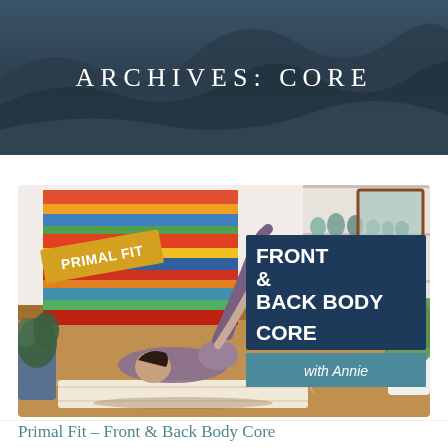ARCHIVES: CORE
[Figure (photo): Fitness video thumbnail showing a woman doing a core yoga/pilates exercise on a mat in a home setting with colorful tapestry on wall behind her. Overlaid text labels read PRIMAL FIT in gold banner and FRONT & BACK BODY CORE with Annie in dark blue and teal boxes.]
Primal Fit – Front & Back Body Core